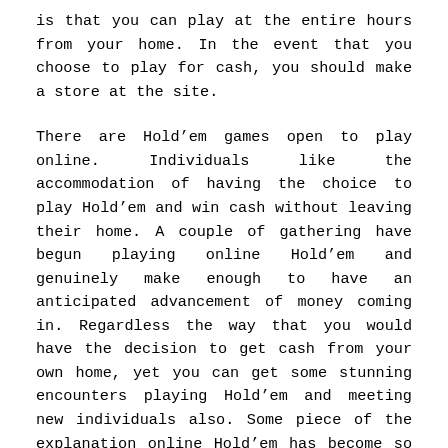is that you can play at the entire hours from your home. In the event that you choose to play for cash, you should make a store at the site.
There are Hold’em games open to play online. Individuals like the accommodation of having the choice to play Hold’em and win cash without leaving their home. A couple of gathering have begun playing online Hold’em and genuinely make enough to have an anticipated advancement of money coming in. Regardless the way that you would have the decision to get cash from your own home, yet you can get some stunning encounters playing Hold’em and meeting new individuals also. Some piece of the explanation online Hold’em has become so enormous is the goliath prizes for both eye to eye and online hardships. Most online Hold’em protests will offer both of you decisions to play for redirection or to play for cash. Right when you play